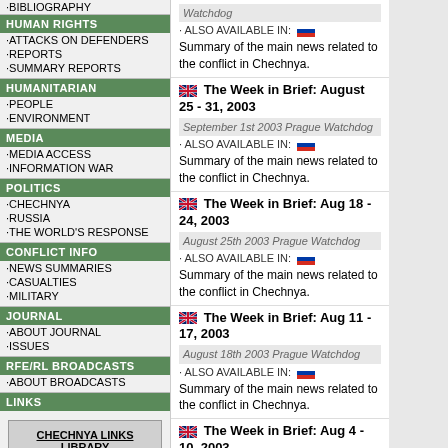·BIBLIOGRAPHY
HUMAN RIGHTS
·ATTACKS ON DEFENDERS
·REPORTS
·SUMMARY REPORTS
HUMANITARIAN
·PEOPLE
·ENVIRONMENT
MEDIA
·MEDIA ACCESS
·INFORMATION WAR
POLITICS
·CHECHNYA
·RUSSIA
·THE WORLD'S RESPONSE
CONFLICT INFO
·NEWS SUMMARIES
·CASUALTIES
·MILITARY
JOURNAL
·ABOUT JOURNAL
·ISSUES
RFE/RL BROADCASTS
·ABOUT BROADCASTS
LINKS
CHECHNYA LINKS LIBRARY
Watchdog
· ALSO AVAILABLE IN:
Summary of the main news related to the conflict in Chechnya.
The Week in Brief: August 25 - 31, 2003
September 1st 2003 Prague Watchdog
· ALSO AVAILABLE IN:
Summary of the main news related to the conflict in Chechnya.
The Week in Brief: Aug 18 - 24, 2003
August 25th 2003 Prague Watchdog
· ALSO AVAILABLE IN:
Summary of the main news related to the conflict in Chechnya.
The Week in Brief: Aug 11 - 17, 2003
August 18th 2003 Prague Watchdog
· ALSO AVAILABLE IN:
Summary of the main news related to the conflict in Chechnya.
The Week in Brief: Aug 4 - 10, 2003